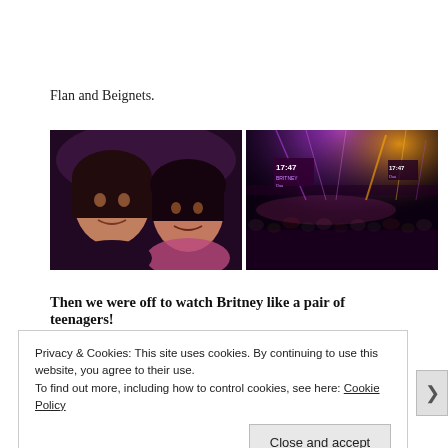Flan and Beignets.
[Figure (photo): Two women taking a selfie in a dark venue with purple lighting]
[Figure (photo): Concert venue with purple and gold stage lights, showing '17:47' on screen, audience visible in foreground]
Then we were off to watch Britney like a pair of teenagers!
Privacy & Cookies: This site uses cookies. By continuing to use this website, you agree to their use.
To find out more, including how to control cookies, see here: Cookie Policy
Close and accept